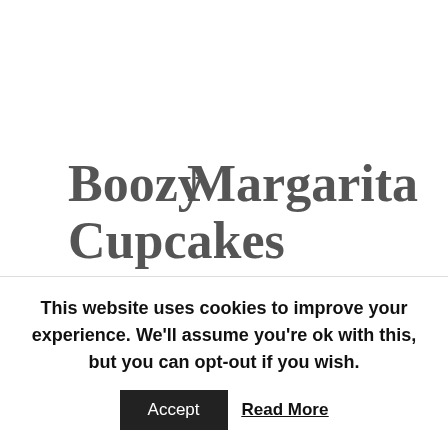Boozy Cupcakes Margarita
These Margarita Cupcakes are so much fun! They can be switched up with your favorite alcohol flavor. Instead of the tequila and lime, you can use chocolate and Kahlua, rum and coconut for a Pina Colada version. The options are endless. But
This website uses cookies to improve your experience. We'll assume you're ok with this, but you can opt-out if you wish.
Accept  Read More